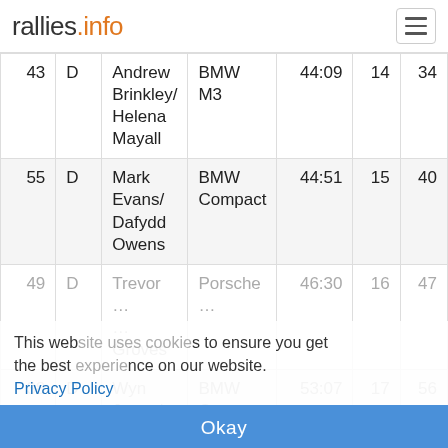rallies.info
| # | Class | Name | Car | Time | Cls | Ovr |
| --- | --- | --- | --- | --- | --- | --- |
| 43 | D | Andrew Brinkley/ Helena Mayall | BMW M3 | 44:09 | 14 | 34 |
| 55 | D | Mark Evans/ Dafydd Owens | BMW Compact | 44:51 | 15 | 40 |
| 49 | D | Trevor ... | Porsche ... | 46:30 | 16 | 47 |
| 38 | D | Wyn Jones/ Emyr Evans | BMW Compact | 53:07 | 17 | 56 |
This website uses cookies to ensure you get the best experience on our website. Privacy Policy  Okay
Class E
| # | Class | Name | Car | Time | Cls | Ovr |
| --- | --- | --- | --- | --- | --- | --- |
| 8 | E | Mark Jasper/ ... | Skoda ... | 38:26 | 1 | 3 |